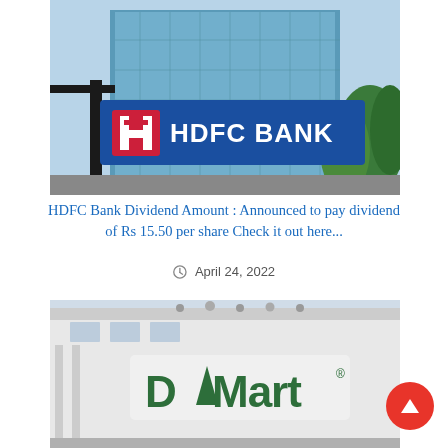[Figure (photo): HDFC Bank building exterior with large blue HDFC BANK sign and logo on a bright day with a modern glass building in the background.]
HDFC Bank Dividend Amount : Announced to pay dividend of Rs 15.50 per share Check it out here...
April 24, 2022
[Figure (photo): DMart store exterior showing large white building with green DMart logo signage.]